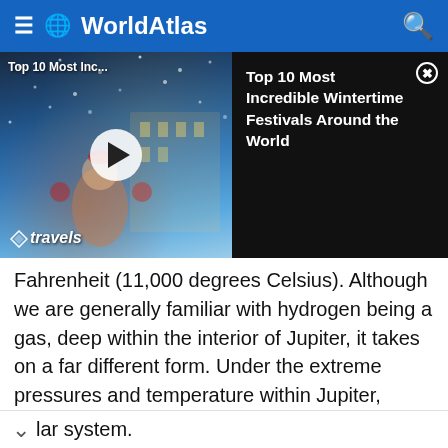WorldAtlas
[Figure (screenshot): Video thumbnail showing a winter festival scene with a play button overlay, alongside a dark panel showing the title 'Top 10 Most Incredible Wintertime Festivals Around the World' with a close button]
Fahrenheit (11,000 degrees Celsius). Although we are generally familiar with hydrogen being a gas, deep within the interior of Jupiter, it takes on a far different form. Under the extreme pressures and temperature within Jupiter, hydrogen turns into a metallic liquid. Like a metal, hydrogen can conduct electricity in this liquid metallic state. A moving electric charge also produces a magnetic field. This sea of liquid hydrogen creates Jupiter's magnetic field, the largest and most powerful of any planet in our solar system.